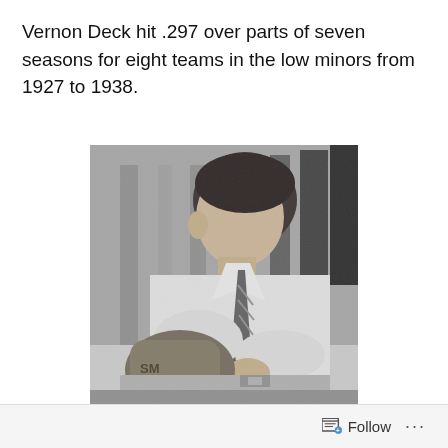Vernon Deck hit .297 over parts of seven seasons for eight teams in the low minors from 1927 to 1938.
[Figure (photo): Black and white photograph of Vernon Deck, a man in a white shirt and tie, sitting and holding what appears to be a baseball glove or equipment, photographed from the side in profile.]
Follow ...